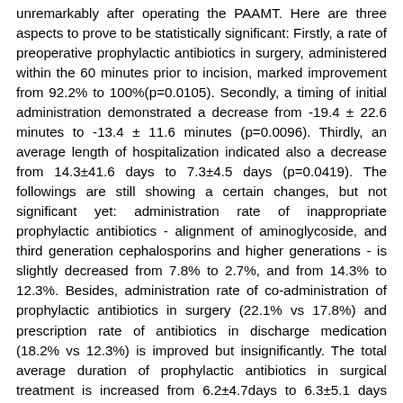unremarkably after operating the PAAMT. Here are three aspects to prove to be statistically significant: Firstly, a rate of preoperative prophylactic antibiotics in surgery, administered within the 60 minutes prior to incision, marked improvement from 92.2% to 100%(p=0.0105). Secondly, a timing of initial administration demonstrated a decrease from -19.4 ± 22.6 minutes to -13.4 ± 11.6 minutes (p=0.0096). Thirdly, an average length of hospitalization indicated also a decrease from 14.3±41.6 days to 7.3±4.5 days (p=0.0419). The followings are still showing a certain changes, but not significant yet: administration rate of inappropriate prophylactic antibiotics - alignment of aminoglycoside, and third generation cephalosporins and higher generations - is slightly decreased from 7.8% to 2.7%, and from 14.3% to 12.3%. Besides, administration rate of co-administration of prophylactic antibiotics in surgery (22.1% vs 17.8%) and prescription rate of antibiotics in discharge medication (18.2% vs 12.3%) is improved but insignificantly. The total average duration of prophylactic antibiotics in surgical treatment is increased from 6.2±4.7days to 6.3±5.1 days (p=0.7855). If it would separate the total average treatment duration of prophylactic antibiotics in surgery into inpatient and discharge treatment: the former is